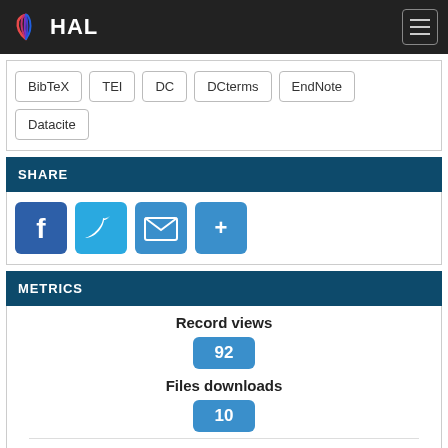HAL
BibTeX
TEI
DC
DCterms
EndNote
Datacite
SHARE
[Figure (infographic): Social share buttons: Facebook, Twitter, Email, More]
METRICS
Record views
92
Files downloads
10
Tweeted by 1